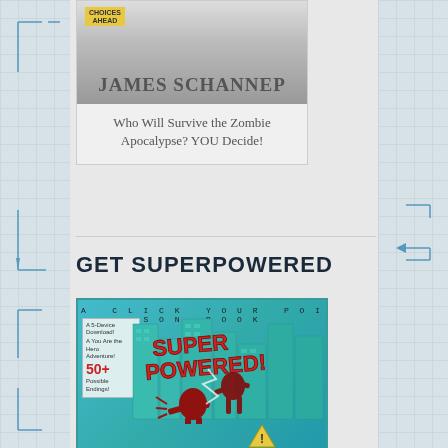[Figure (illustration): Book cover showing 'JAMES SCHANNEP' author name on a zombie-themed book with 'CHOICES AHEAD' badge]
Who Will Survive the Zombie Apocalypse? YOU Decide!
GET SUPERPOWERED
[Figure (illustration): Book cover for 'SUPERPOWERED' - A Click Your Poison Book, showing superhero figures against a teal city background with '50+' badge]